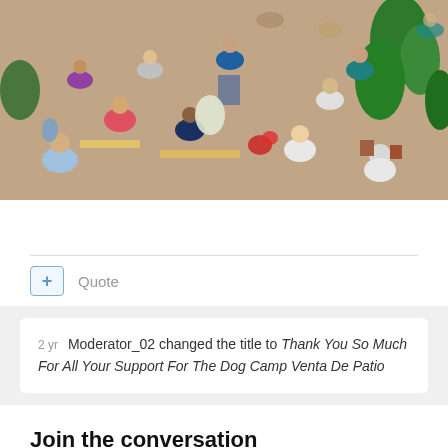[Figure (photo): Crowd of people at an indoor plant/flower market or bazaar, viewed from above. Many plants and flowers visible on tables, people browsing.]
+ Quote
2 yr  Moderator_02 changed the title to Thank You So Much For All Your Support For The Dog Camp Venta De Patio
Join the conversation
You can post now and register later. If you have an account